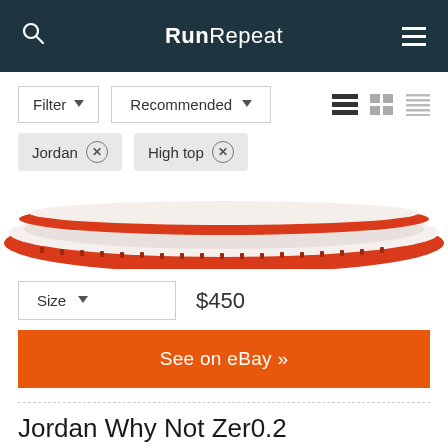RunRepeat
Filter ▾   Recommended ▾
Jordan ✕   High top ✕
[Figure (photo): Partial view of a red and white sneaker sole, cropped showing the bottom edge and midsole]
Size ▾   $450
See on eBay »
Jordan Why Not Zer0.2
91  Superb  (335 reviews)